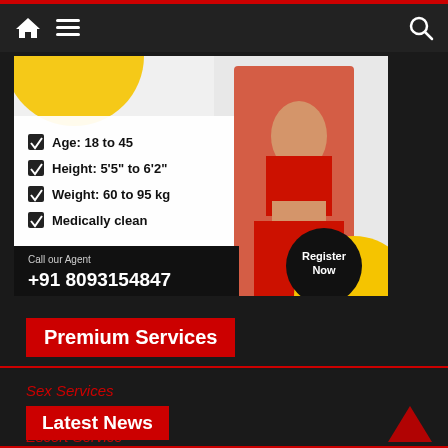Navigation bar with home, menu, and search icons
[Figure (infographic): Advertisement banner with checklist items: Age: 18 to 45, Height: 5'5" to 6'2", Weight: 60 to 95 kg, Medically clean. Call our Agent +91 8093154847. Register Now button. Features a woman in red clothing.]
Premium Services
Sex Services
Adult Dating
Escort Service
Latest News